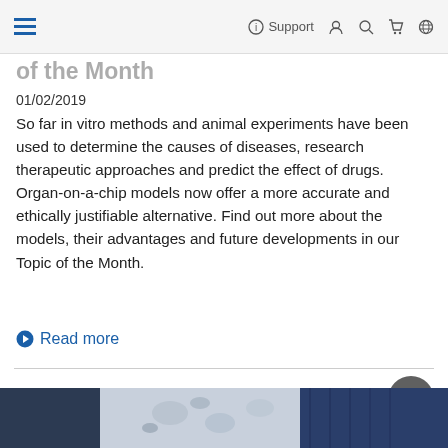Support (navigation bar with hamburger menu, support, account, search, cart, language icons)
of the Month (partial, cut off)
01/02/2019
So far in vitro methods and animal experiments have been used to determine the causes of diseases, research therapeutic approaches and predict the effect of drugs. Organ-on-a-chip models now offer a more accurate and ethically justifiable alternative. Find out more about the models, their advantages and future developments in our Topic of the Month.
Read more
[Figure (photo): Partial image of a person wearing a floral patterned shirt and blue jacket/cardigan, cropped at the bottom of the page]